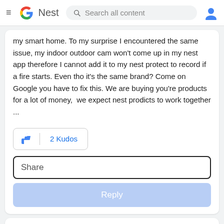Google Nest — Search all content
my smart home. To my surprise I encountered the same issue, my indoor outdoor cam won't come up in my nest app therefore I cannot add it to my nest protect to record if a fire starts. Even tho it's the same brand? Come on Google you have to fix this. We are buying you're products for a lot of money,  we expect nest prodicts to work together ...
2 Kudos
Share
Reply